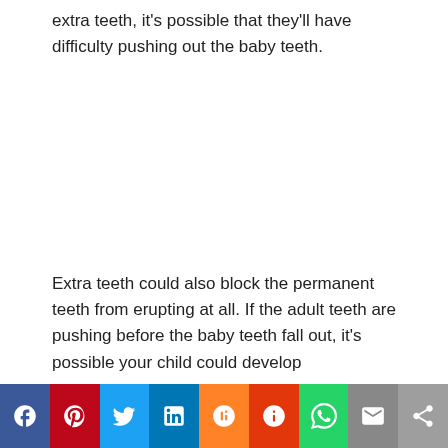extra teeth, it's possible that they'll have difficulty pushing out the baby teeth.
Extra teeth could also block the permanent teeth from erupting at all. If the adult teeth are pushing before the baby teeth fall out, it's possible your child could develop
[Figure (infographic): Social media share bar with buttons: Facebook (blue), Pinterest (red), Twitter (light blue), LinkedIn (dark blue), Mix (orange), Yummly (red-orange), WhatsApp (green), Email (grey), More/share (light grey)]